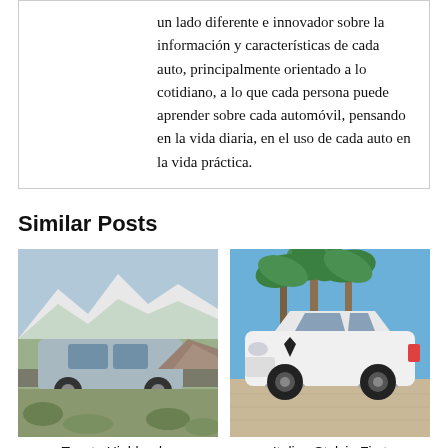un lado diferente e innovador sobre la información y características de cada auto, principalmente orientado a lo cotidiano, a lo que cada persona puede aprender sobre cada automóvil, pensando en la vida diaria, en el uso de cada auto en la vida práctica.
Similar Posts
[Figure (photo): Toyota Highlander SUV parked on a road with snow-capped mountains and desert landscape in the background]
[Figure (photo): White Alfa Romeo Stelvio SUV parked in front of tall palm trees under a blue sky]
Toyota Highlander
Italian Stelvio First